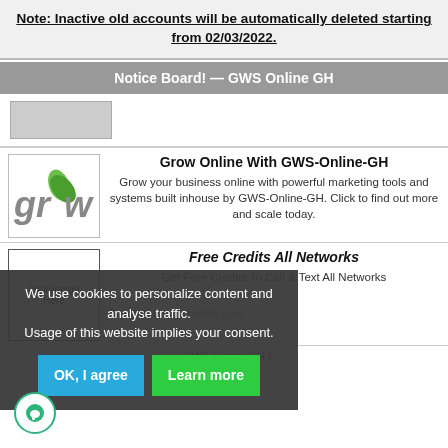Note: Inactive old accounts will be automatically deleted starting from 02/03/2022.
Notice Board! — GWS Online GH
[Figure (screenshot): Placeholder image thumbnail (gray box)]
Grow Online With GWS-Online-GH
Grow your business online with powerful marketing tools and systems built inhouse by GWS-Online-GH. Click to find out more and scale today.
[Figure (logo): GWS grow logo with green leaf]
Free Credits All Networks
Get Free Credits To Call & Text All Networks
[Figure (screenshot): Placeholder image box labeled Your Image Here]
Supported by: infolinity.com
[ GWS-Online-GH ]
We use cookies to personalize content and analyse traffic. Usage of this website implies your consent.
OK, I agree
Learn more